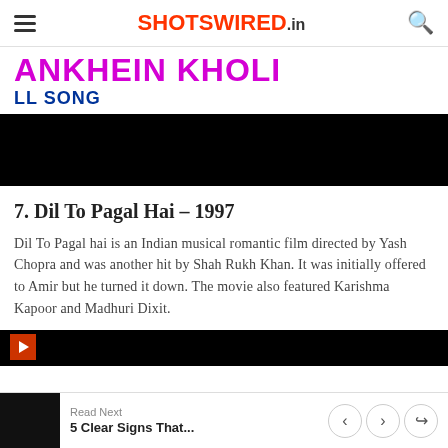SHOTSWIRED.in
ANKHEIN KHOLI
LL SONG
[Figure (photo): Black banner image area]
7. Dil To Pagal Hai – 1997
Dil To Pagal hai is an Indian musical romantic film directed by Yash Chopra and was another hit by Shah Rukh Khan. It was initially offered to Amir but he turned it down. The movie also featured Karishma Kapoor and Madhuri Dixit.
[Figure (photo): Black banner at bottom with orange icon]
Read Next 5 Clear Signs That...